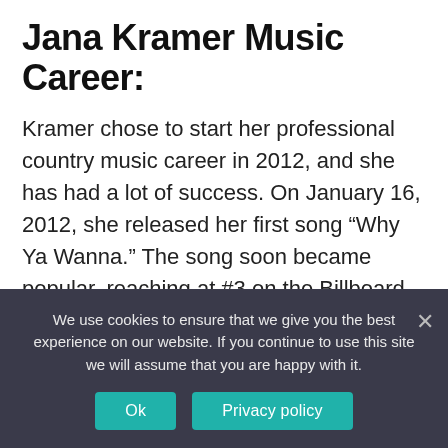Jana Kramer Music Career:
Kramer chose to start her professional country music career in 2012, and she has had a lot of success. On January 16, 2012, she released her first song “Why Ya Wanna.” The song soon became popular, reaching at #3 on the Billboard Hot Country Songs list and #52 on the Billboard Hot 100 in the United States. Her second single from the album, Whiskey, was released shortly after.
Kramer ultimately released her self-titled debut
We use cookies to ensure that we give you the best experience on our website. If you continue to use this site we will assume that you are happy with it.